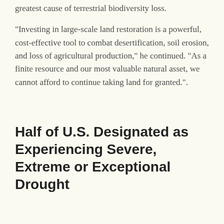greatest cause of terrestrial biodiversity loss.
"Investing in large-scale land restoration is a powerful, cost-effective tool to combat desertification, soil erosion, and loss of agricultural production," he continued. "As a finite resource and our most valuable natural asset, we cannot afford to continue taking land for granted.".
Half of U.S. Designated as Experiencing Severe, Extreme or Exceptional Drought